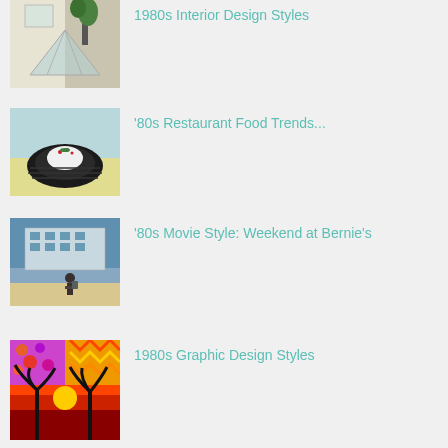[Figure (photo): 1980s interior design photo with geometric shapes, glass pyramid, and plant]
1980s Interior Design Styles
[Figure (photo): Food dish on a dark ribbed plate with red garnish, aqua background]
'80s Restaurant Food Trends...
[Figure (photo): Person with backpack walking toward a modern building on a beach]
'80s Movie Style: Weekend at Bernie's
[Figure (photo): Colorful 1980s graphic design with palm tree silhouette and tropical sunset]
1980s Graphic Design Styles